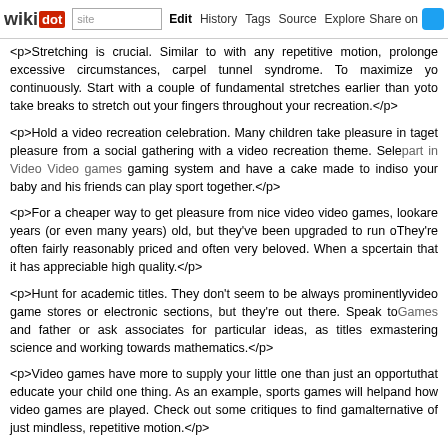wikidot | site | Edit | History | Tags | Source | Explore | Share on [twitter]
<p>Stretching is crucial. Similar to with any repetitive motion, prolonged excessive circumstances, carpel tunnel syndrome. To maximize yo continuously. Start with a couple of fundamental stretches earlier than yo to take breaks to stretch out your fingers throughout your recreation.</p>
<p>Hold a video recreation celebration. Many children take pleasure in ta get pleasure from a social gathering with a video recreation theme. Sele part in Video Video games gaming system and have a cake made to indi so your baby and his friends can play sport together.</p>
<p>For a cheaper way to get pleasure from nice video video games, look are years (or even many years) old, but they've been upgraded to run o They're often fairly reasonably priced and often very beloved. When a sp certain that it has appreciable high quality.</p>
<p>Hunt for academic titles. They don't seem to be always prominently video game stores or electronic sections, but they're out there. Speak to Games and father or ask associates for particular ideas, as titles ex mastering science and working towards mathematics.</p>
<p>Video games have more to supply your little one than just an opportu that educate your child one thing. As an example, sports games will help and how video games are played. Check out some critiques to find gam alternative of just mindless, repetitive motion.</p>
<p>If your youngster needs an additional boost at school in a certain sub an academic concentrate on that subject. Youngsters be taught best whe games from time to time may be able to reinforce a topic in which they wa